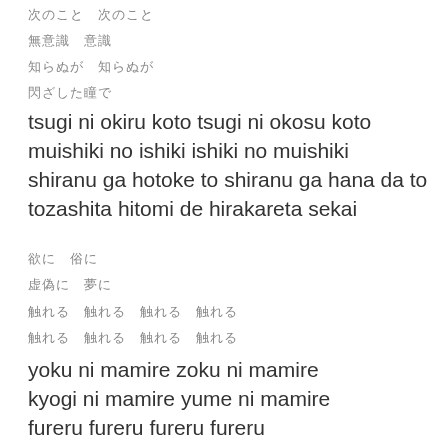次のこと　次のこと
無意識　意識
知らぬが　知らぬが
閉ざした瞳で
tsugi ni okiru koto tsugi ni okosu koto
muishiki no ishiki ishiki no muishiki
shiranu ga hotoke to shiranu ga hana da to
tozashita hitomi de hirakareta sekai
欲に　俗に
虚偽に　夢に
触れる　触れる　触れる　触れる
触れる　触れる　触れる　触れる
yoku ni mamire zoku ni mamire
kyogi ni mamire yume ni mamire
fureru fureru fureru fureru